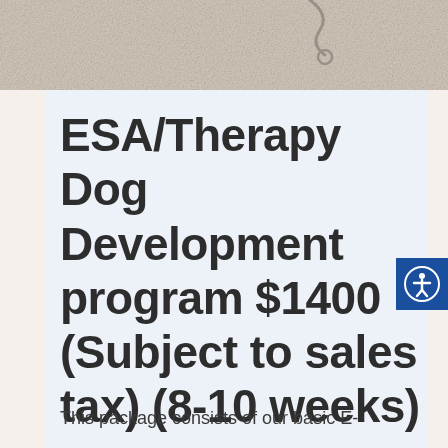[Figure (photo): Top portion of a webpage showing a textured light beige/sand background image, partially cropped]
ESA/Therapy Dog Development program $1400 (Subject to sales tax) (8-10 weeks)
This package consists of our basic E-